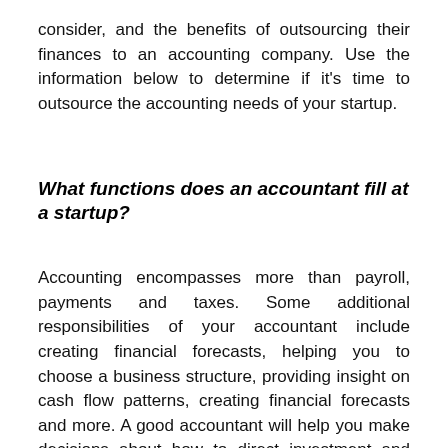consider, and the benefits of outsourcing their finances to an accounting company. Use the information below to determine if it's time to outsource the accounting needs of your startup.
What functions does an accountant fill at a startup?
Accounting encompasses more than payroll, payments and taxes. Some additional responsibilities of your accountant include creating financial forecasts, helping you to choose a business structure, providing insight on cash flow patterns, creating financial forecasts and more. A good accountant will help you make decisions about how to direct investment and grow their business.